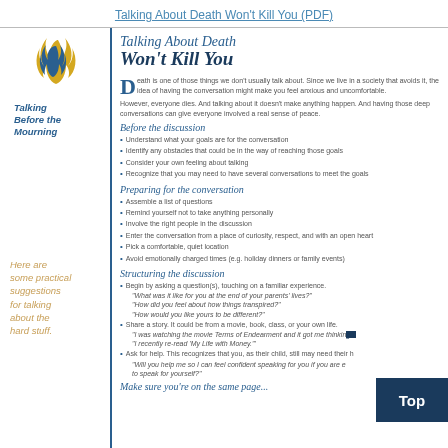Talking About Death Won't Kill You (PDF)
[Figure (logo): Talking Before the Mourning logo with flame icon and text]
Talking About Death Won't Kill You
Death is one of those things we don't usually talk about. Since we live in a society that avoids it, the idea of having the conversation might make you feel anxious and uncomfortable.
However, everyone dies. And talking about it doesn't make anything happen. And having those deep conversations can give everyone involved a real sense of peace.
Before the discussion
Understand what your goals are for the conversation
Identify any obstacles that could be in the way of reaching those goals
Consider your own feeling about talking
Recognize that you may need to have several conversations to meet the goals
Preparing for the conversation
Assemble a list of questions
Remind yourself not to take anything personally
Involve the right people in the discussion
Enter the conversation from a place of curiosity, respect, and with an open heart
Pick a comfortable, quiet location
Avoid emotionally charged times (e.g. holiday dinners or family events)
Structuring the discussion
Begin by asking a question(s), touching on a familiar experience. "What was it like for you at the end of your parents' lives?" "How did you feel about how things transpired?" "How would you like yours to be different?"
Share a story. It could be from a movie, book, class, or your own life. "I was watching the movie Terms of Endearment and it got me thinking..." "I recently re-read 'My Life with Money.'"
Ask for help. This recognizes that you, as their child, still may need their help. "Will you help me so I can feel confident speaking for you if you are ever unable to speak for yourself?"
Here are some practical suggestions for talking about the hard stuff.
Make sure you're on the same page...